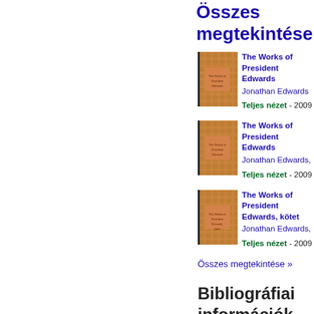Összes megtekintése
[Figure (photo): Book cover of The Works of President Edwards]
The Works of President Edwards
Jonathan Edwards
Teljes nézet - 2009
[Figure (photo): Book cover of The Works of President Edwards]
The Works of President Edwards
Jonathan Edwards,
Teljes nézet - 2009
[Figure (photo): Book cover of The Works of President Edwards, kötet]
The Works of President Edwards, kötet
Jonathan Edwards,
Teljes nézet - 2009
Összes megtekintése »
Bibliográfiai információk